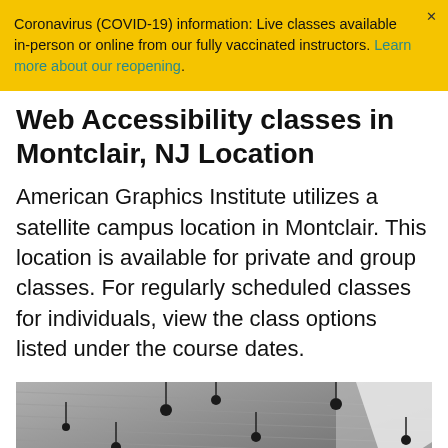Coronavirus (COVID-19) information: Live classes available in-person or online from our fully vaccinated instructors. Learn more about our reopening.
Web Accessibility classes in Montclair, NJ Location
American Graphics Institute utilizes a satellite campus location in Montclair. This location is available for private and group classes. For regularly scheduled classes for individuals, view the class options listed under the course dates.
[Figure (photo): Interior photo of a modern building ceiling with hanging pendant lights and linear ceiling panels, viewed from below at an angle.]